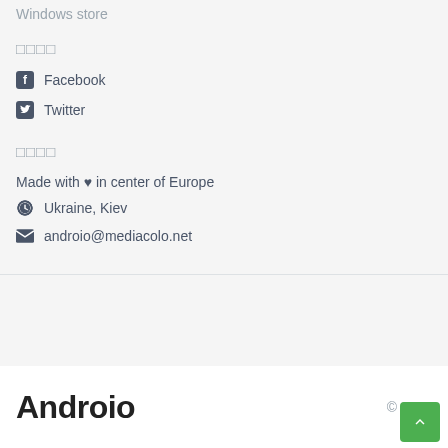Windows store
□□□□
Facebook
Twitter
□□□□
Made with ♥ in center of Europe
Ukraine, Kiev
androio@mediacolo.net
Androio  © 2022